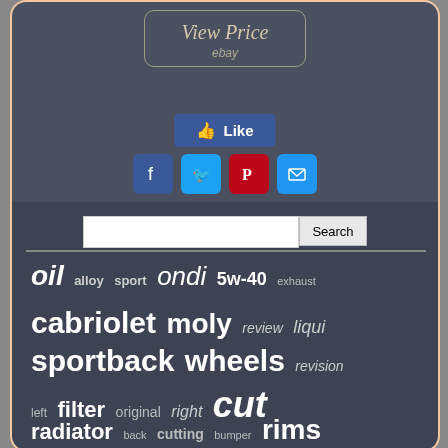[Figure (screenshot): View Price button with ebay label on dark gray background]
[Figure (screenshot): Facebook Like button]
[Figure (screenshot): Social sharing icons: Facebook, Twitter, Pinterest, Email]
[Figure (screenshot): Search bar with text input and Search button]
[Figure (infographic): Tag cloud with automotive-related terms: oil, alloy, sport, ondi, 5w-40, exhaust, cabriolet, moly, review, liqui, sportback, wheels, revision, left, filter, original, right, cut, radiator, back, cutting, bumper, rims, inspection, convertible, for]